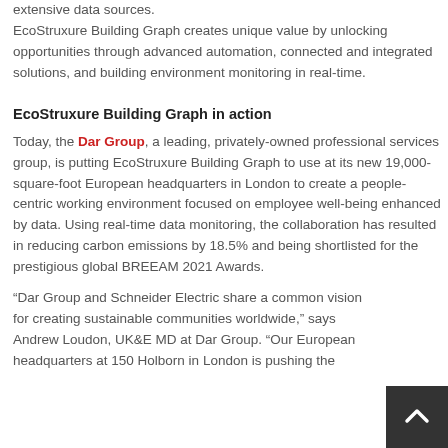extensive data sources. EcoStruxure Building Graph creates unique value by unlocking opportunities through advanced automation, connected and integrated solutions, and building environment monitoring in real-time.
EcoStruxure Building Graph in action
Today, the Dar Group, a leading, privately-owned professional services group, is putting EcoStruxure Building Graph to use at its new 19,000-square-foot European headquarters in London to create a people-centric working environment focused on employee well-being enhanced by data. Using real-time data monitoring, the collaboration has resulted in reducing carbon emissions by 18.5% and being shortlisted for the prestigious global BREEAM 2021 Awards.
“Dar Group and Schneider Electric share a common vision for creating sustainable communities worldwide,” says Andrew Loudon, UK&E MD at Dar Group. “Our European headquarters at 150 Holborn in London is pushing the